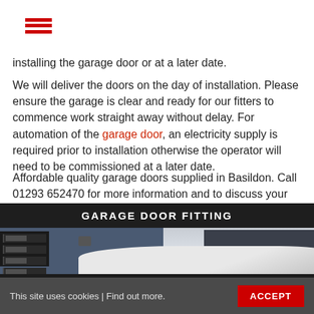[Figure (logo): Red hamburger menu icon with three horizontal red bars]
installing the garage door or at a later date.
We will deliver the doors on the day of installation. Please ensure the garage is clear and ready for our fitters to commence work straight away without delay. For automation of the garage door, an electricity supply is required prior to installation otherwise the operator will need to be commissioned at a later date.
Affordable quality garage doors supplied in Basildon. Call 01293 652470 for more information and to discuss your requirements.
[Figure (photo): Photo of industrial building with blue corrugated metal walls, open garage door showing dark interior with light reflections, a security lamp on the wall, and a white van roof in the foreground. A dark banner at the top reads GARAGE DOOR FITTING.]
This site uses cookies | Find out more.